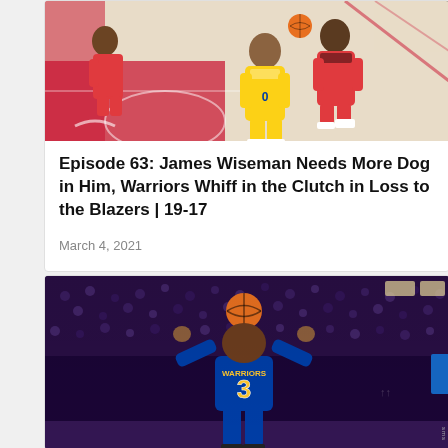[Figure (photo): Basketball action photo showing Golden State Warriors player in yellow jersey driving against Portland Trail Blazers player in red/black jersey during NBA game]
Episode 63: James Wiseman Needs More Dog in Him, Warriors Whiff in the Clutch in Loss to the Blazers | 19-17
March 4, 2021
[Figure (photo): Golden State Warriors player wearing blue jersey number 3 shooting a basketball with both hands raised above head, crowd visible in background]